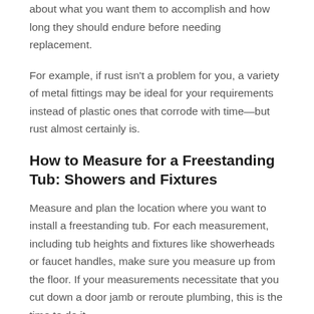about what you want them to accomplish and how long they should endure before needing replacement.
For example, if rust isn't a problem for you, a variety of metal fittings may be ideal for your requirements instead of plastic ones that corrode with time—but rust almost certainly is.
How to Measure for a Freestanding Tub: Showers and Fixtures
Measure and plan the location where you want to install a freestanding tub. For each measurement, including tub heights and fixtures like showerheads or faucet handles, make sure you measure up from the floor. If your measurements necessitate that you cut down a door jamb or reroute plumbing, this is the time to do it.